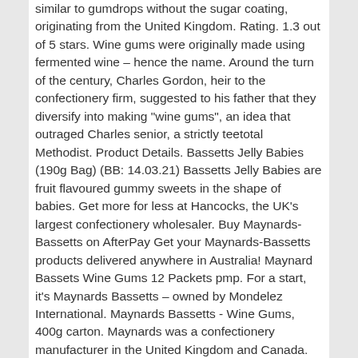similar to gumdrops without the sugar coating, originating from the United Kingdom. Rating. 1.3 out of 5 stars. Wine gums were originally made using fermented wine – hence the name. Around the turn of the century, Charles Gordon, heir to the confectionery firm, suggested to his father that they diversify into making "wine gums", an idea that outraged Charles senior, a strictly teetotal Methodist. Product Details. Bassetts Jelly Babies (190g Bag) (BB: 14.03.21) Bassetts Jelly Babies are fruit flavoured gummy sweets in the shape of babies. Get more for less at Hancocks, the UK's largest confectionery wholesaler. Buy Maynards-Bassetts on AfterPay Get your Maynards-Bassetts products delivered anywhere in Australia! Maynard Bassets Wine Gums 12 Packets pmp. For a start, it's Maynards Bassetts – owned by Mondelez International. Maynards Bassetts - Wine Gums, 400g carton. Maynards was a confectionery manufacturer in the United Kingdom and Canada. "Mocktail wine gums are as close to the taste of a cocktail I'm gonna get while at work!" Another user said. Included on the menu are Pina Colada, Strawberry Daiquiri and Cuba Libre varieties. Charles Riley Maynard and his brother Tom started manufacturing sweets in 1880 in their kitchen in Stamford Hill in Hackney, London. On Sale! The